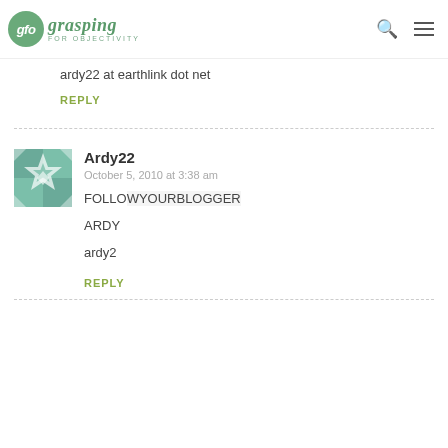gfo grasping FOR OBJECTIVITY
ardy22 at earthlink dot net
REPLY
Ardy22
October 5, 2010 at 3:38 am
FOLLO[YOUR BLOGGER]
ARDY
ardy2
REPLY